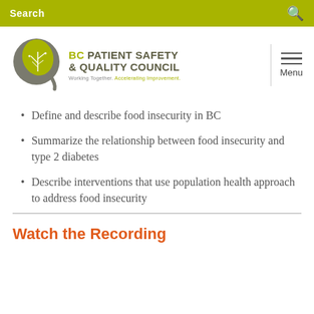Search
[Figure (logo): BC Patient Safety & Quality Council logo with stylized tree inside a Q shape]
Define and describe food insecurity in BC
Summarize the relationship between food insecurity and type 2 diabetes
Describe interventions that use population health approach to address food insecurity
Watch the Recording